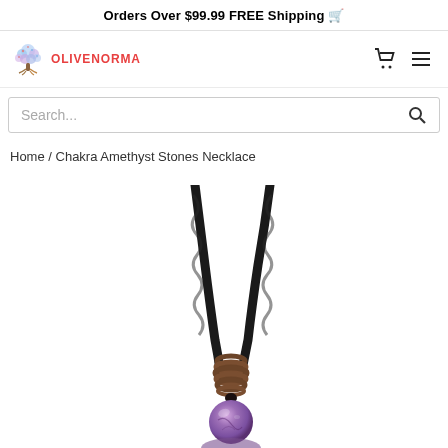Orders Over $99.99 FREE Shipping 🚚
[Figure (logo): Olivenorma logo with colorful tree and red brand name text]
Search...
Home / Chakra Amethyst Stones Necklace
[Figure (photo): Close-up product photo of a Chakra Amethyst Stones Necklace showing braided dark cord, brown knotted wrapping, and purple amethyst stone bead pendant on white background]